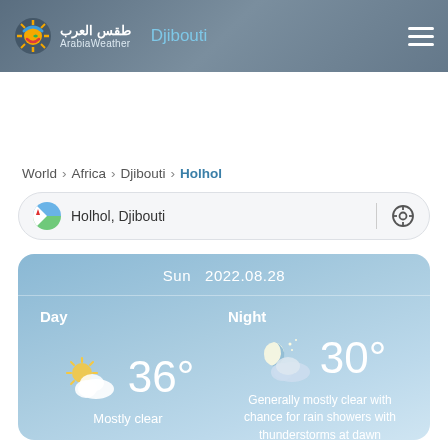طقس العرب ArabiaWeather — Djibouti
World > Africa > Djibouti > Holhol
Holhol, Djibouti
Sun  2022.08.28
Day — 36° — Mostly clear
Night — 30° — Generally mostly clear with chance for rain showers with thunderstorms at dawn